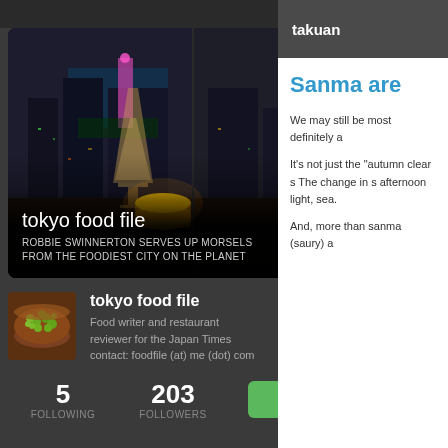[Figure (screenshot): Blog card showing nighttime Tokyo cityscape with champagne glasses and candlelight, rounded rectangle card with home icon]
tokyo food file
ROBBIE SWINNERTON SERVES UP MORSELS FROM THE FOODIEST CITY ON THE PLANET
[Figure (photo): Thumbnail showing green beans/vegetables in a wooden bowl]
tokyo food file
Food writer and restaurant reviewer for the Japan Times
contact: foodfile (at) me (dot) com
5
FOLLOWING
203
FOLLOWERS
Follow
takuan
Sanma are
We may still be most definitely a
It's not just the "autumn clear s The change in s afternoon light, sea.
And, more than sanma (saury) a